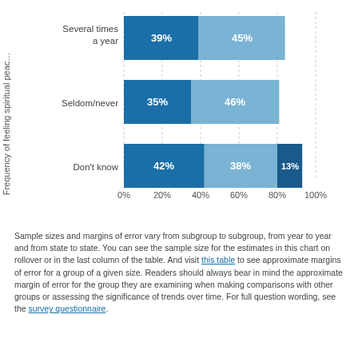[Figure (stacked-bar-chart): Frequency of feeling spiritual peace]
Sample sizes and margins of error vary from subgroup to subgroup, from year to year and from state to state. You can see the sample size for the estimates in this chart on rollover or in the last column of the table. And visit this table to see approximate margins of error for a group of a given size. Readers should always bear in mind the approximate margin of error for the group they are examining when making comparisons with other groups or assessing the significance of trends over time. For full question wording, see the survey questionnaire.